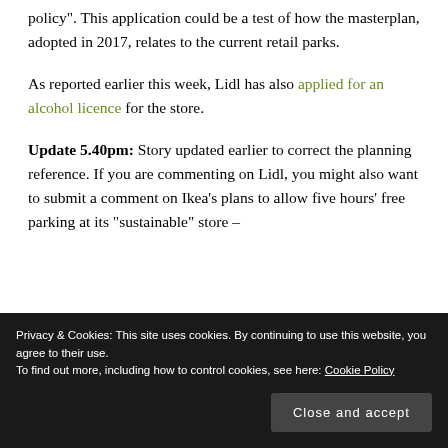policy". This application could be a test of how the masterplan, adopted in 2017, relates to the current retail parks.
As reported earlier this week, Lidl has also applied for an alcohol licence for the store.
Update 5.40pm: Story updated earlier to correct the planning reference. If you are commenting on Lidl, you might also want to submit a comment on Ikea’s plans to allow five hours’ free parking at its “sustainable” store –
Privacy & Cookies: This site uses cookies. By continuing to use this website, you agree to their use. To find out more, including how to control cookies, see here: Cookie Policy
Close and accept